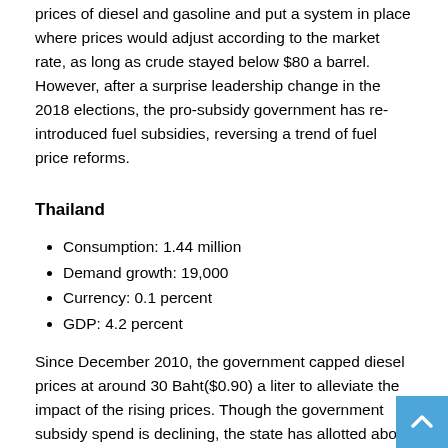prices of diesel and gasoline and put a system in place where prices would adjust according to the market rate, as long as crude stayed below $80 a barrel. However, after a surprise leadership change in the 2018 elections, the pro-subsidy government has re-introduced fuel subsidies, reversing a trend of fuel price reforms.
Thailand
Consumption: 1.44 million
Demand growth: 19,000
Currency: 0.1 percent
GDP: 4.2 percent
Since December 2010, the government capped diesel prices at around 30 Baht($0.90) a liter to alleviate the impact of the rising prices. Though the government subsidy spend is declining, the state has allotted about 30 billion Baht to absorb